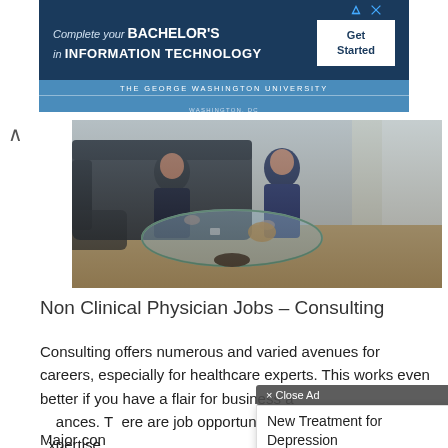[Figure (screenshot): Advertisement banner for The George Washington University Bachelor's in Information Technology program, dark blue background with 'Get Started' button]
[Figure (photo): Two people sitting on sofas around a glass coffee table in a modern office or living space, consulting or meeting]
Non Clinical Physician Jobs – Consulting
Consulting offers numerous and varied avenues for careers, especially for healthcare experts. This works even better if you have a flair for business and managing finances. There are job opportunities [with relevant expertise].
Major con[sulting firms hire]he
[Figure (screenshot): Popup ad overlay: '× Close Ad' tooltip and 'New Treatment for Depression' ad by NOVA Health Recovery Ke]